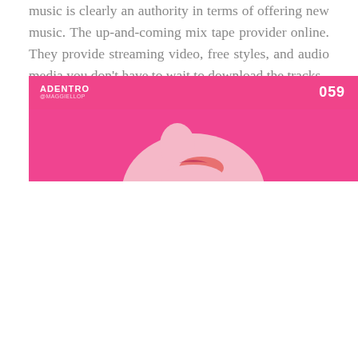music is clearly an authority in terms of offering new music. The up-and-coming mix tape provider online. They provide streaming video, free styles, and audio media you don't have to wait to download the tracks.
Posted in Entertainment
< PREVIOUS    NEXT >
[Figure (other): Pink/magenta advertisement block with 'ADENTRO @MAGGIELLOP' label on the left, '059' on the right, and a close-up photo of a woman's face on a pink background at the bottom.]